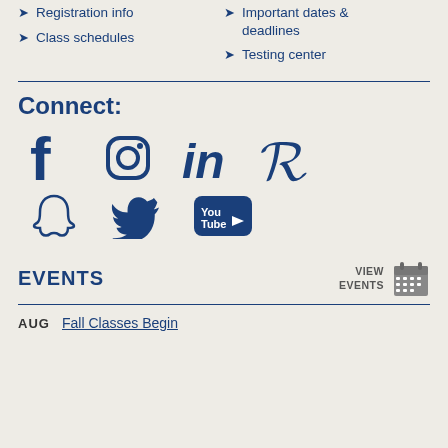Registration info
Class schedules
Important dates & deadlines
Testing center
Connect:
[Figure (infographic): Social media icons: Facebook, Instagram, LinkedIn, Pinterest, Snapchat, Twitter, YouTube]
EVENTS
VIEW EVENTS
AUG  Fall Classes Begin